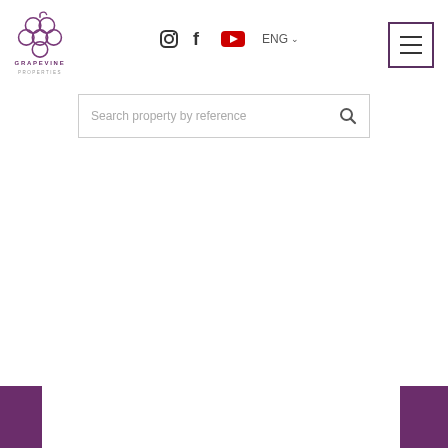Grapevine Properties website header with logo, social media icons, language selector, navigation menu, and search bar
[Figure (logo): Grapevine Properties logo: purple grape cluster outline above text GRAPEVINE in purple letters and smaller subtext PROPERTIES]
Search property by reference
[Figure (illustration): Two purple rectangular blocks at the bottom-left and bottom-right corners of the page]